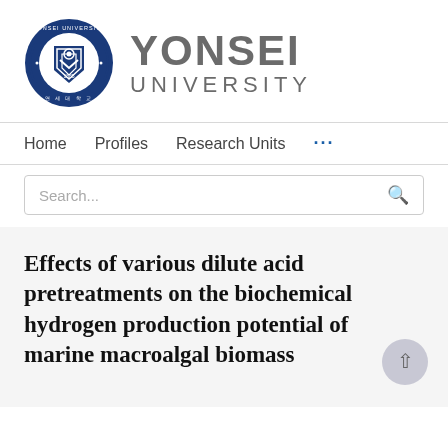[Figure (logo): Yonsei University logo with circular blue seal on left and 'YONSEI UNIVERSITY' text in gray on right]
Home    Profiles    Research Units    ...
Search...
Effects of various dilute acid pretreatments on the biochemical hydrogen production potential of marine macroalgal biomass